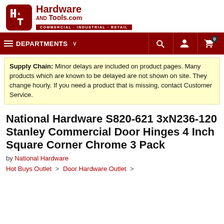[Figure (logo): Hardware and Tools .com logo with red rounded square icon containing H&T letters, red text reading Hardware AND Tools .com, and red banner below reading COMMERCIAL · INDUSTRIAL · RETAIL]
≡ DEPARTMENTS ∨  🔍  👤  🛒 0
Supply Chain: Minor delays are included on product pages. Many products which are known to be delayed are not shown on site. They change hourly. If you need a product that is missing, contact Customer Service.
National Hardware S820-621 3xN236-120 Stanley Commercial Door Hinges 4 Inch Square Corner Chrome 3 Pack
by National Hardware
Hot Buys Outlet > Door Hardware Outlet >